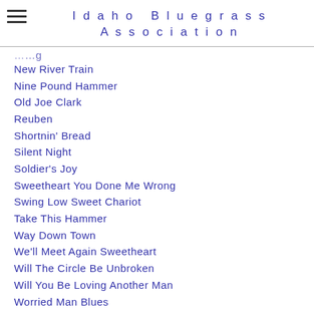Idaho Bluegrass Association
New River Train
Nine Pound Hammer
Old Joe Clark
Reuben
Shortnin' Bread
Silent Night
Soldier's Joy
Sweetheart You Done Me Wrong
Swing Low Sweet Chariot
Take This Hammer
Way Down Town
We'll Meet Again Sweetheart
Will The Circle Be Unbroken
Will You Be Loving Another Man
Worried Man Blues
Wreck Of The Old '97
X- 30 Add. Jam-Friendly Songs